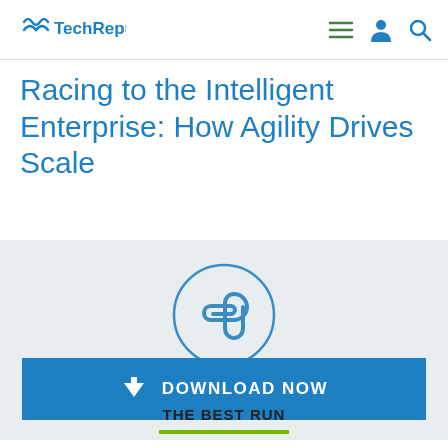TechRepublic
Racing to the Intelligent Enterprise: How Agility Drives Scale
[Figure (illustration): Circular paperclip icon with blue outline on light gray background, above a blue DOWNLOAD NOW button]
DOWNLOAD NOW
THE BEST RUN